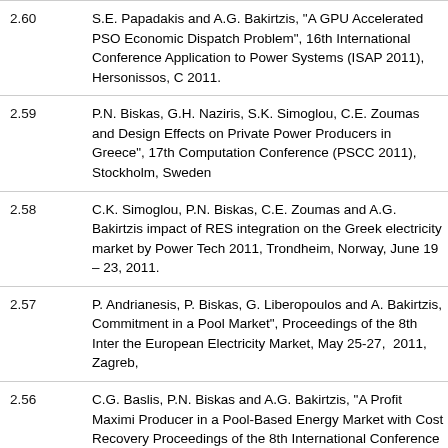2.60 S.E. Papadakis and A.G. Bakirtzis, "A GPU Accelerated PSO Economic Dispatch Problem", 16th International Conference Application to Power Systems (ISAP 2011), Hersonissos, C 2011.
2.59 P.N. Biskas, G.H. Naziris, S.K. Simoglou, C.E. Zoumas and Design Effects on Private Power Producers in Greece", 17th Computation Conference (PSCC 2011), Stockholm, Sweden
2.58 C.K. Simoglou, P.N. Biskas, C.E. Zoumas and A.G. Bakirtzis impact of RES integration on the Greek electricity market by Power Tech 2011, Trondheim, Norway, June 19 – 23, 2011.
2.57 P. Andrianesis, P. Biskas, G. Liberopoulos and A. Bakirtzis, Commitment in a Pool Market", Proceedings of the 8th Inter the European Electricity Market, May 25-27, 2011, Zagreb,
2.56 C.G. Baslis, P.N. Biskas and A.G. Bakirtzis, "A Profit Maximi Producer in a Pool-Based Energy Market with Cost Recovery Proceedings of the 8th International Conference on the Euro May 25-27, 2011, Zagreb, Croatia.
2.55 C.K. Simoglou, P.N. Biskas and A.G. Bakirtzis, "Impact of inc on the operation of the Greek electricity market", Med Pow